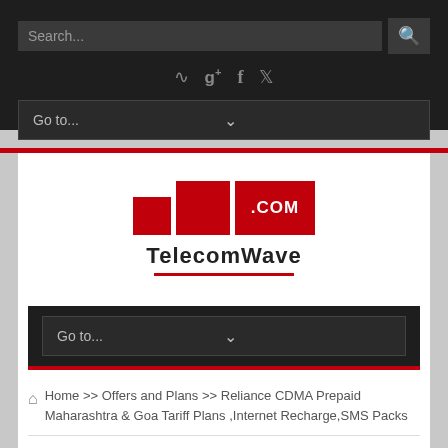[Figure (screenshot): Website header with search bar and social media icons on dark background]
[Figure (logo): TelecomWave.com logo with red bar chart graphic and text]
Go to...
Home >> Offers and Plans >> Reliance CDMA Prepaid Maharashtra & Goa Tariff Plans ,Internet Recharge,SMS Packs
Reliance CDMA Prepaid